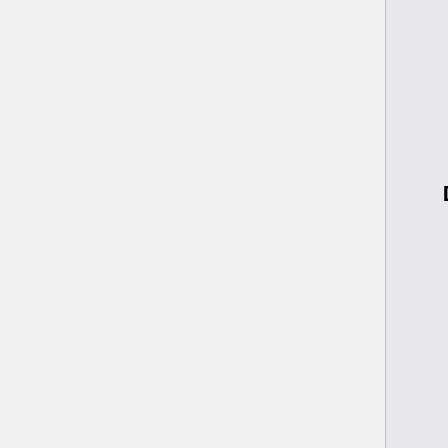Bomb Disposal Suit
[Figure (illustration): Pixel art icon of a brown boot/suit boot item]
diminish their impact, so while you might still take some damage, you'll often survive when you otherwise would be chunky salsa. All that plating also reduces damage from melee attacks to the chest by 9 (for perspective, it means extinguishers do minimal damage) and